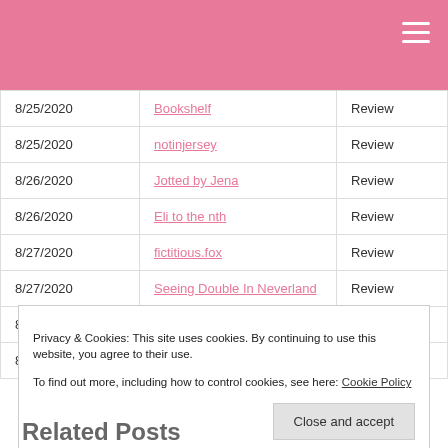| Date | Blog | Type |
| --- | --- | --- |
| 8/25/2020 | Bookshelf | Review |
| 8/25/2020 | notinjersey | Review |
| 8/26/2020 | Jotted by Jena | Review |
| 8/26/2020 | Eli to the nth | Review |
| 8/27/2020 | fictitious.fox | Review |
| 8/27/2020 | Seeing Double In Neverland | Review |
| 8/28/2020 | Twirling Book Princess | Spotlight |
| 8/28/2020 | Andi's ABCs | Review |
Privacy & Cookies: This site uses cookies. By continuing to use this website, you agree to their use. To find out more, including how to control cookies, see here: Cookie Policy
Related Posts